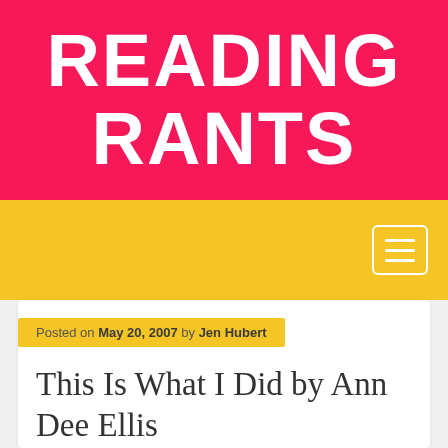READING RANTS
Navigation menu bar with hamburger icon
Posted on May 20, 2007 by Jen Hubert
This Is What I Did by Ann Dee Ellis